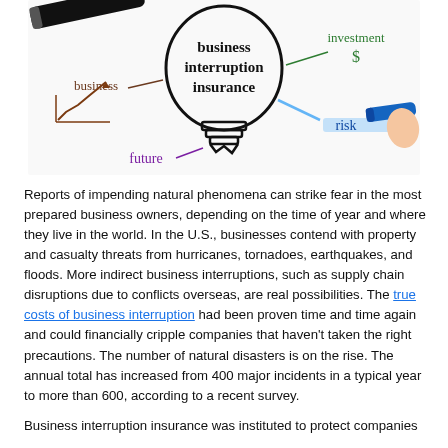[Figure (illustration): Business interruption insurance concept illustration: a lightbulb sketch in the center with 'business interruption insurance' written inside it, surrounded by handwritten-style words and drawings including 'business' with an upward arrow chart, 'investment' with a dollar sign, 'future' in purple, and 'risk' in blue with a marker pen visible.]
Reports of impending natural phenomena can strike fear in the most prepared business owners, depending on the time of year and where they live in the world. In the U.S., businesses contend with property and casualty threats from hurricanes, tornadoes, earthquakes, and floods. More indirect business interruptions, such as supply chain disruptions due to conflicts overseas, are real possibilities. The true costs of business interruption had been proven time and time again and could financially cripple companies that haven't taken the right precautions. The number of natural disasters is on the rise. The annual total has increased from 400 major incidents in a typical year to more than 600, according to a recent survey.
Business interruption insurance was instituted to protect companies from the risks described above, as well as the long-term damage to a business's ability to recover.